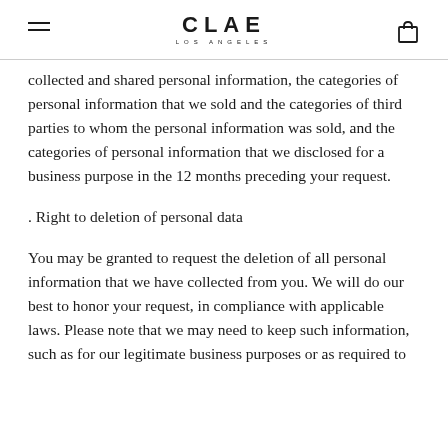CLAE LOS ANGELES
collected and shared personal information, the categories of personal information that we sold and the categories of third parties to whom the personal information was sold, and the categories of personal information that we disclosed for a business purpose in the 12 months preceding your request.
. Right to deletion of personal data
You may be granted to request the deletion of all personal information that we have collected from you. We will do our best to honor your request, in compliance with applicable laws. Please note that we may need to keep such information, such as for our legitimate business purposes or as required to